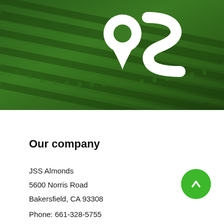[Figure (logo): Aerial photo of farm rows with a white logo overlay showing a map pin combined with the letter S (JSS Almonds logo)]
Our company
JSS Almonds
5600 Norris Road
Bakersfield, CA 93308
Phone: 661-328-5755